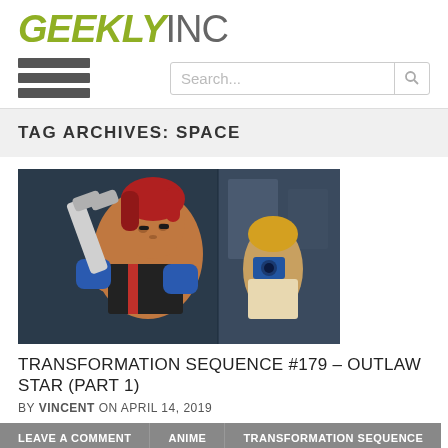GEEKLYINC
TAG ARCHIVES: SPACE
[Figure (illustration): Anime illustration showing a red-haired character holding a large wrench with blue gloves and a muscular build, with another character holding a camera in the background. Style is from the anime Outlaw Star.]
TRANSFORMATION SEQUENCE #179 – OUTLAW STAR (PART 1)
BY VINCENT ON APRIL 14, 2019
LEAVE A COMMENT
ANIME
TRANSFORMATION SEQUENCE